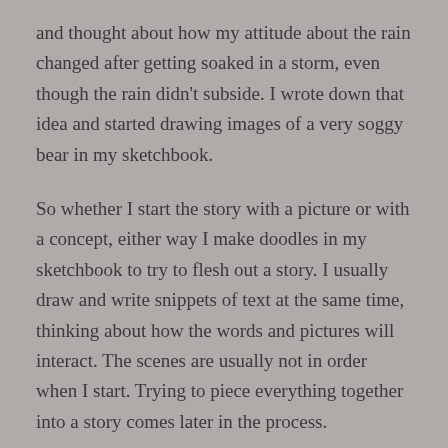and thought about how my attitude about the rain changed after getting soaked in a storm, even though the rain didn't subside. I wrote down that idea and started drawing images of a very soggy bear in my sketchbook.
So whether I start the story with a picture or with a concept, either way I make doodles in my sketchbook to try to flesh out a story. I usually draw and write snippets of text at the same time, thinking about how the words and pictures will interact. The scenes are usually not in order when I start. Trying to piece everything together into a story comes later in the process.
What inspired you to write this particular book?